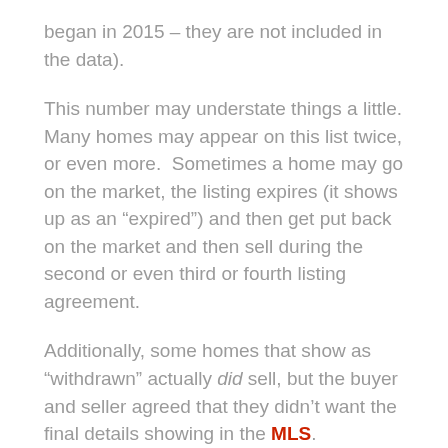began in 2015 – they are not included in the data).
This number may understate things a little. Many homes may appear on this list twice, or even more.  Sometimes a home may go on the market, the listing expires (it shows up as an “expired”) and then get put back on the market and then sell during the second or even third or fourth listing agreement.
Additionally, some homes that show as “withdrawn” actually did sell, but the buyer and seller agreed that they didn’t want the final details showing in the MLS.
There are lots of reasons a home wouldn’t sell